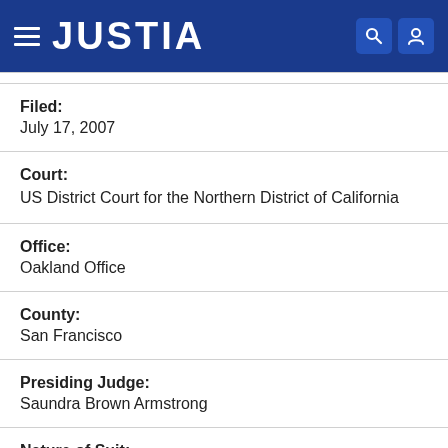JUSTIA
Filed:
July 17, 2007
Court:
US District Court for the Northern District of California
Office:
Oakland Office
County:
San Francisco
Presiding Judge:
Saundra Brown Armstrong
Nature of Suit: